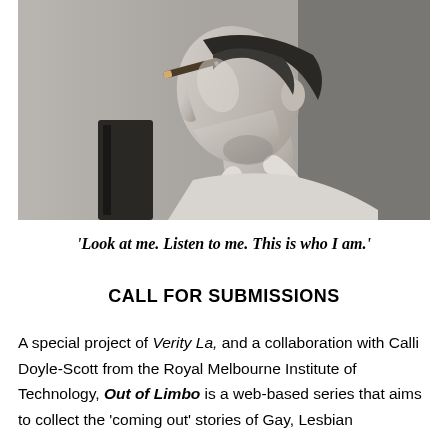[Figure (photo): Black and white photograph of a person in profile view, tilting their head back with a cigar or cigarette in their mouth, wearing a white sleeveless top.]
‘Look at me. Listen to me. This is who I am.’
CALL FOR SUBMISSIONS
A special project of Verity La, and a collaboration with Calli Doyle-Scott from the Royal Melbourne Institute of Technology, Out of Limbo is a web-based series that aims to collect the ‘coming out’ stories of Gay, Lesbian